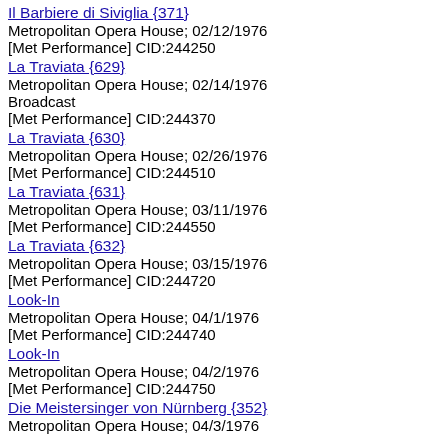Il Barbiere di Siviglia {371}
Metropolitan Opera House; 02/12/1976
[Met Performance] CID:244250
La Traviata {629}
Metropolitan Opera House; 02/14/1976
Broadcast
[Met Performance] CID:244370
La Traviata {630}
Metropolitan Opera House; 02/26/1976
[Met Performance] CID:244510
La Traviata {631}
Metropolitan Opera House; 03/11/1976
[Met Performance] CID:244550
La Traviata {632}
Metropolitan Opera House; 03/15/1976
[Met Performance] CID:244720
Look-In
Metropolitan Opera House; 04/1/1976
[Met Performance] CID:244740
Look-In
Metropolitan Opera House; 04/2/1976
[Met Performance] CID:244750
Die Meistersinger von Nürnberg {352}
Metropolitan Opera House; 04/3/1976